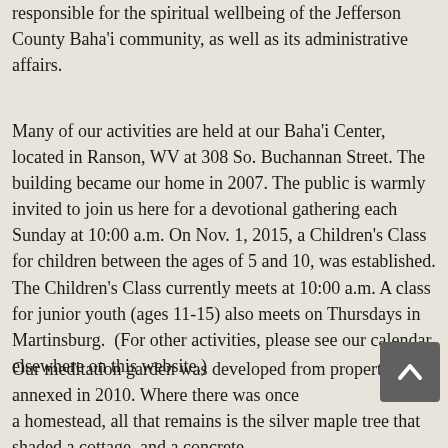responsible for the spiritual wellbeing of the Jefferson County Baha'i community, as well as its administrative affairs.
Many of our activities are held at our Baha'i Center, located in Ranson, WV at 308 So. Buchannan Street. The building became our home in 2007. The public is warmly invited to join us here for a devotional gathering each Sunday at 10:00 a.m. On Nov. 1, 2015, a Children's Class for children between the ages of 5 and 10, was established. The Children's Class currently meets at 10:00 a.m. A class for junior youth (ages 11-15) also meets on Thursdays in Martinsburg. (For other activities, please see our calendar, elsewhere on this website.)
Our meditation garden was developed from property annexed in 2010. Where there was once a homestead, all that remains is the silver maple tree that shaded a cottage, and a concrete block shelter which was once a horse stable. Now the garden invites passersby to enjoy quiet